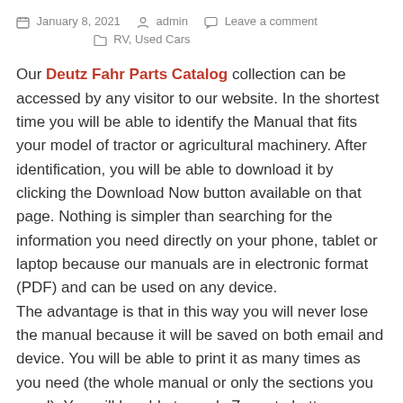January 8, 2021   admin   Leave a comment   RV, Used Cars
Our Deutz Fahr Parts Catalog collection can be accessed by any visitor to our website. In the shortest time you will be able to identify the Manual that fits your model of tractor or agricultural machinery. After identification, you will be able to download it by clicking the Download Now button available on that page. Nothing is simpler than searching for the information you need directly on your phone, tablet or laptop because our manuals are in electronic format (PDF) and can be used on any device. The advantage is that in this way you will never lose the manual because it will be saved on both email and device. You will be able to print it as many times as you need (the whole manual or only the sections you need). You will be able to apply Zoom to better see some details present in wiring diagrams or exploded views.